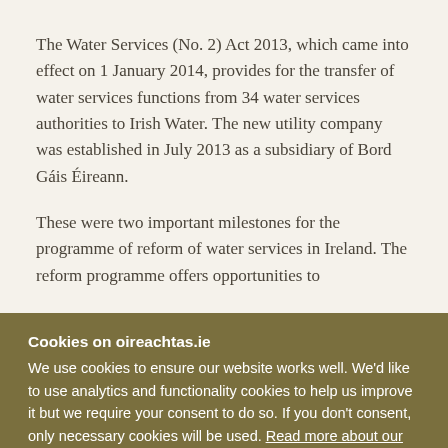The Water Services (No. 2) Act 2013, which came into effect on 1 January 2014, provides for the transfer of water services functions from 34 water services authorities to Irish Water. The new utility company was established in July 2013 as a subsidiary of Bord Gáis Éireann.
These were two important milestones for the programme of reform of water services in Ireland. The reform programme offers opportunities to
Cookies on oireachtas.ie
We use cookies to ensure our website works well. We'd like to use analytics and functionality cookies to help us improve it but we require your consent to do so. If you don't consent, only necessary cookies will be used. Read more about our cookies
Manage cookies
Accept all cookies